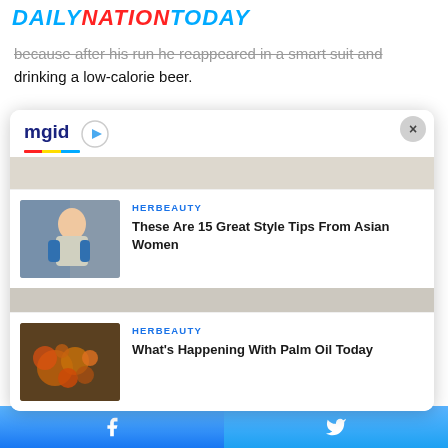DAILY NATION TODAY
because after his run he reappeared in a smart suit and drinking a low-calorie beer.
[Figure (screenshot): MGID widget showing two sponsored content items from HERBEAUTY: 'These Are 15 Great Style Tips From Asian Women' with an image of a woman, and 'What's Happening With Palm Oil Today' with an image of palm oil fruits. Widget has close button (×) in top right.]
Facebook share | Twitter share